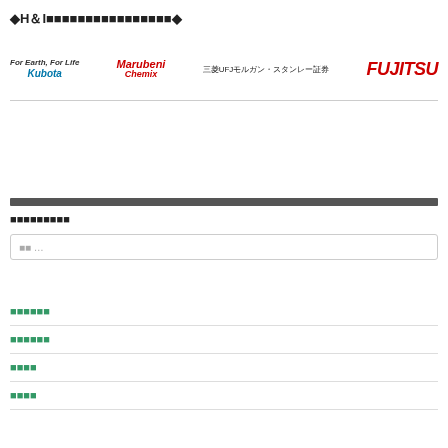◆H＆I■■■■■■■■■■■■■■■■◆
[Figure (logo): Four company logos in a row: Kubota (For Earth, For Life), Marubeni Chemix, 三菱UFJモルガン・スタンレー証券, and Fujitsu]
■■■■■■■■■
■■ …
■■■■■■
■■■■■■
■■■■
■■■■